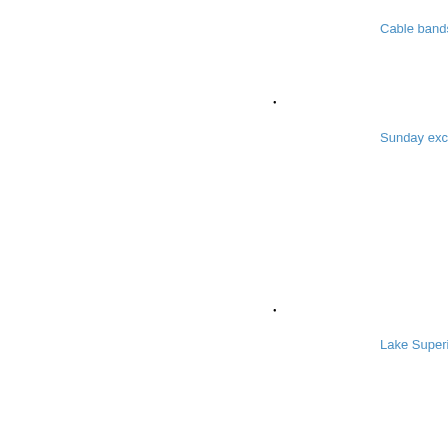Cable bands
•
Sunday excursion
•
Lake Superior Ne